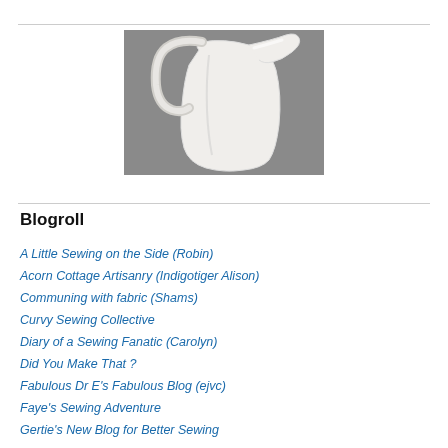[Figure (photo): A white ceramic pitcher/gravy boat photographed against a gray background]
Blogroll
A Little Sewing on the Side (Robin)
Acorn Cottage Artisanry (Indigotiger Alison)
Communing with fabric (Shams)
Curvy Sewing Collective
Diary of a Sewing Fanatic (Carolyn)
Did You Make That ?
Fabulous Dr E's Fabulous Blog (ejvc)
Faye's Sewing Adventure
Gertie's New Blog for Better Sewing